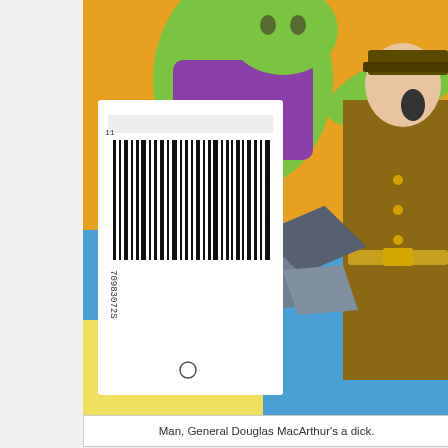[Figure (illustration): Comic book cover panel showing a green-skinned figure attacking General Douglas MacArthur, with a barcode visible in the lower left corner. Vibrant colors including orange, purple, blue, and brown.]
Man, General Douglas MacArthur's a dick.
Wonder Woman #237, DC Comics, November 1977.
As you may recall, in the last issue, Wonder Woman's unbreakable bracelets g saboteur's vibro-boots, which is a problem because without their bracelets Am rages. (I'm sure there must be some way in which that's not sexist at all, but it begins with her doing some DIY repairs at her mom's house, because only Qu furnace" burns hot enough to forge Amazonium. But just like a college student mom's, once she's done her thing she's out of there. She's got things to do, m
[Figure (illustration): Comic book panel with speech bubbles. Text reads: 'THESE BRACELETS WERE GIVEN TO THE AMAZONS BY THE GODDESS APHRODITE, AFTER SHE RESCUED US' / 'WE WERE COMMANDED TO WEAR THEM ALWAYS. DISOBEYING THAT COMMAND CAN TURN' / 'THANK HER ABLE TO THIS HA']